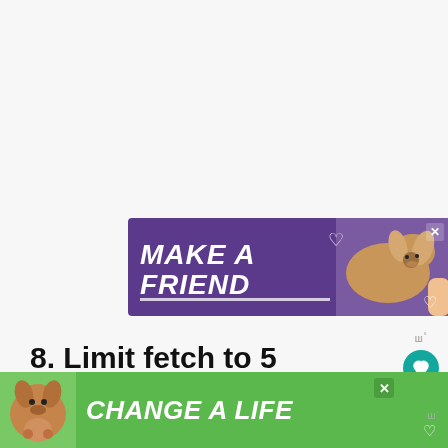[Figure (illustration): Purple advertisement banner with text MAKE A FRIEND in bold white italic letters with underline, a dog photo on the right, hearts, and a close X button]
ш°
8. Limit fetch to 5 minutes or less for your ball obsessed dog.
A good rule of thumb is to limit fetch playing to five minutes.
[Figure (illustration): Green advertisement banner with dog photo on left and text CHANGE A LIFE in bold white italic letters, close X button and heart icon]